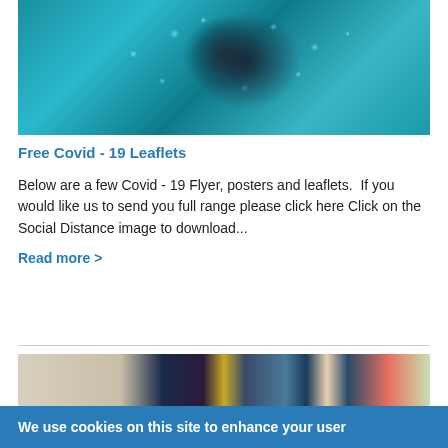[Figure (photo): Close-up microscope image of a coronavirus particle, blue and teal colored with spike proteins visible]
Free Covid - 19 Leaflets
Below are a few Covid - 19 Flyer, posters and leaflets.  If you would like us to send you full range please click here Click on the Social Distance image to download...
Read more >
[Figure (photo): Assorted notebooks and stationery with decorative covers including dark floral/animal patterns and a kraft paper cover with white line illustrations]
We use cookies on this site to enhance your user